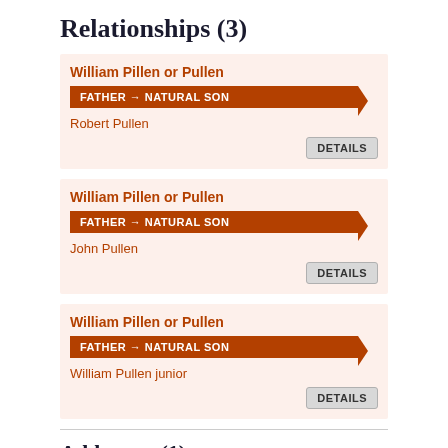Relationships (3)
William Pillen or Pullen
FATHER → NATURAL SON
Robert Pullen
DETAILS
William Pillen or Pullen
FATHER → NATURAL SON
John Pullen
DETAILS
William Pillen or Pullen
FATHER → NATURAL SON
William Pullen junior
DETAILS
Addresses (1)